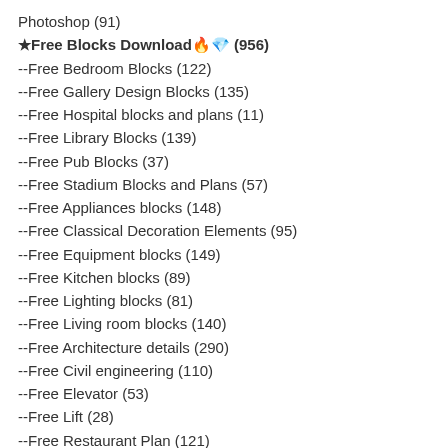Photoshop (91)
★Free Blocks Download🔥💎 (956)
--Free Bedroom Blocks (122)
--Free Gallery Design Blocks (135)
--Free Hospital blocks and plans (11)
--Free Library Blocks (139)
--Free Pub Blocks (37)
--Free Stadium Blocks and Plans (57)
--Free Appliances blocks (148)
--Free Classical Decoration Elements (95)
--Free Equipment blocks (149)
--Free Kitchen blocks (89)
--Free Lighting blocks (81)
--Free Living room blocks (140)
--Free Architecture details (290)
--Free Civil engineering (110)
--Free Elevator (53)
--Free Lift (28)
--Free Restaurant Plan (121)
--Free Travelator (20)